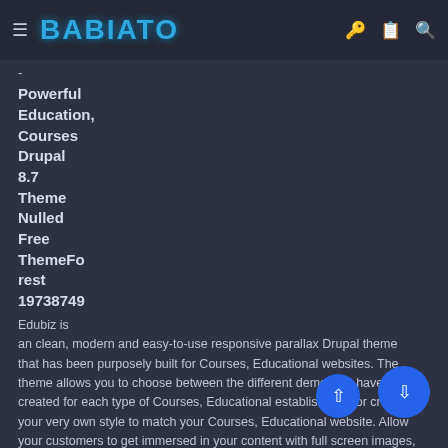BABIATO
-
Powerful Education, Courses Drupal 8.7 Theme Nulled Free ThemeForest 19738749
Edubiz is an clean, modern and easy-to-use responsive parallax Drupal theme that has been purposely built for Courses, Educational websites. The theme allows you to choose between the different demos we have created for each type of Courses, Educational establishment or create your very own style to match your Courses, Educational website. Allow your customers to get immersed in your content with full screen images, parallax, elegant typography and animations. Gavias Edubiz Theme is built with Gavias Block Builder the amazing drag and drop builder